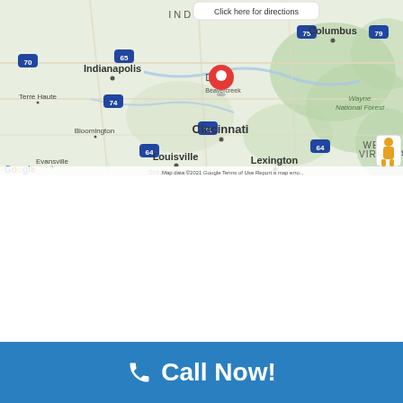[Figure (map): Google Maps screenshot showing a regional map of the US Midwest/East region. Visible cities include Indianapolis, Columbus, Cincinnati, Louisville, Lexington, Bloomington, Terre Haute, Evansville, Shepherdsville, Wayne National Forest, West Virginia label. A red location pin marker is placed near Dayton/Beavercreek, Ohio area. Highway route markers visible. A Google Street View pegman icon appears in lower-right corner. Map data copyright 2021 Google.]
Call Now!